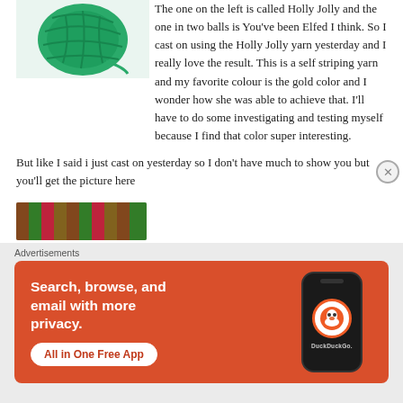[Figure (photo): Ball of green yarn photographed from above on white background, visible at top-left cropped]
The one on the left is called Holly Jolly and the one in two balls is You’ve been Elfed I think. So I cast on using the Holly Jolly yarn yesterday and I really love the result. This is a self striping yarn and my favorite colour is the gold color and I wonder how she was able to achieve that. I’ll have to do some investigating and testing myself because I find that color super interesting.
But like I said i just cast on yesterday so I don’t have much to show you but you’ll get the picture here
[Figure (photo): Colorful striped yarn photographed close up, showing red, green and brown stripes]
Advertisements
[Figure (screenshot): DuckDuckGo advertisement banner on orange background: Search, browse, and email with more privacy. All in One Free App. Shows phone with DuckDuckGo logo.]